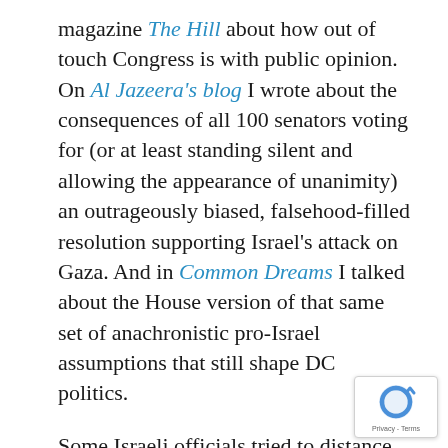magazine The Hill about how out of touch Congress is with public opinion. On Al Jazeera's blog I wrote about the consequences of all 100 senators voting for (or at least standing silent and allowing the appearance of unanimity) an outrageously biased, falsehood-filled resolution supporting Israel's attack on Gaza. And in Common Dreams I talked about the House version of that same set of anachronistic pro-Israel assumptions that still shape DC politics.
Some Israeli officials tried to distance themselves and their country from one of the most horrific, up-close-and-personal murders, the torturing to death of young Mohammed Khdeir in the West Bank by right-wing Jewish Israelis, supposedly in retaliation for the kidnapping and killing of three Israeli settler students. But the reality is that Israeli racism is rampant and rising, there is